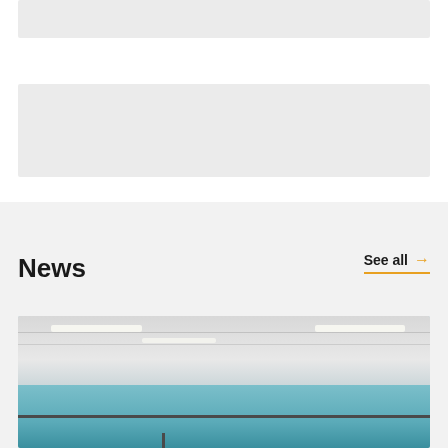[Figure (other): Gray placeholder box at top of page]
[Figure (other): Gray placeholder box in middle of page]
News
See all →
[Figure (photo): Interior photo of an office space showing ceiling with recessed lighting panels, large windows with a view, and what appears to be a control room or operations center environment]